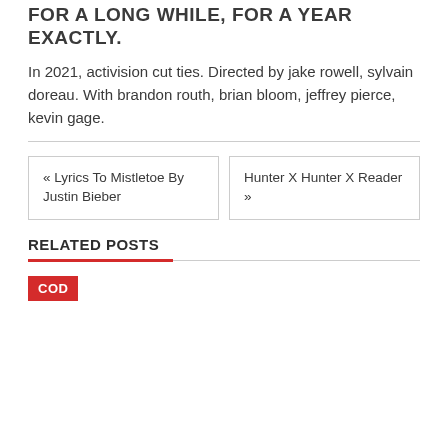FOR A LONG WHILE, FOR A YEAR EXACTLY.
In 2021, activision cut ties. Directed by jake rowell, sylvain doreau. With brandon routh, brian bloom, jeffrey pierce, kevin gage.
« Lyrics To Mistletoe By Justin Bieber
Hunter X Hunter X Reader »
RELATED POSTS
COD